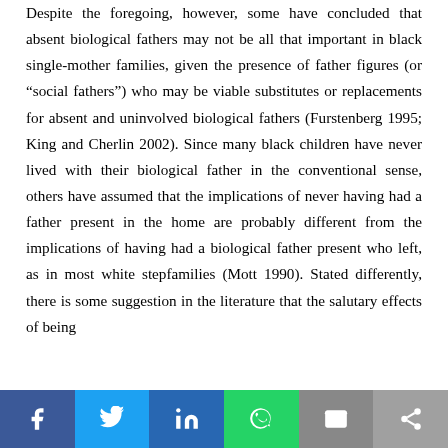Despite the foregoing, however, some have concluded that absent biological fathers may not be all that important in black single-mother families, given the presence of father figures (or “social fathers”) who may be viable substitutes or replacements for absent and uninvolved biological fathers (Furstenberg 1995; King and Cherlin 2002). Since many black children have never lived with their biological father in the conventional sense, others have assumed that the implications of never having had a father present in the home are probably different from the implications of having had a biological father present who left, as in most white stepfamilies (Mott 1990). Stated differently, there is some suggestion in the literature that the salutary effects of being
[Figure (infographic): Social media share bar with icons for Facebook, Twitter, LinkedIn, WhatsApp, Email, and Share]